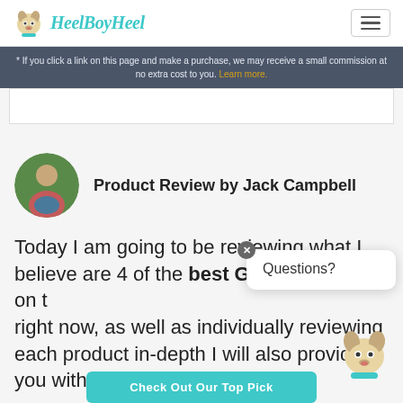HeelBoyHeel
* If you click a link on this page and make a purchase, we may receive a small commission at no extra cost to you. Learn more.
Product Review by Jack Campbell
Today I am going to be reviewing what I believe are 4 of the best GPS dog collars on t... right now, as well as individually reviewing each product in-depth I will also provide you with a...
Questions?
Check Out Our Top Pick